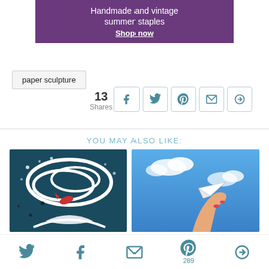[Figure (other): Purple/violet advertisement banner: 'Handmade and vintage summer staples - Shop now']
paper sculpture
13 Shares
[Figure (other): Social share buttons: Facebook, Twitter, Pinterest, Email, Share icons]
YOU MAY ALSO LIKE:
[Figure (photo): Paper sculpture artwork showing wave with koi fish and white swirls on dark background]
[Figure (photo): Hand holding a small paper airplane model against blue sky]
[Figure (other): Bottom toolbar with Twitter, Facebook, Email, Pinterest (289), and Share icons]